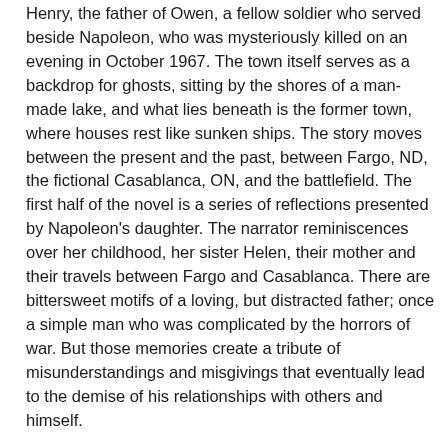Henry, the father of Owen, a fellow soldier who served beside Napoleon, who was mysteriously killed on an evening in October 1967. The town itself serves as a backdrop for ghosts, sitting by the shores of a man-made lake, and what lies beneath is the former town, where houses rest like sunken ships. The story moves between the present and the past, between Fargo, ND, the fictional Casablanca, ON, and the battlefield. The first half of the novel is a series of reflections presented by Napoleon's daughter. The narrator reminiscences over her childhood, her sister Helen, their mother and their travels between Fargo and Casablanca. There are bittersweet motifs of a loving, but distracted father; once a simple man who was complicated by the horrors of war. But those memories create a tribute of misunderstandings and misgivings that eventually lead to the demise of his relationships with others and himself.
As Napoleon's health begins to wane, the novel introduces themes that accompany the caring for an ailing parent. It deals with the difficult and painful experience of watching as someone, whom was once a pillar of strength, slowly wilts away. Skibsrud's book is about our desire to savour those